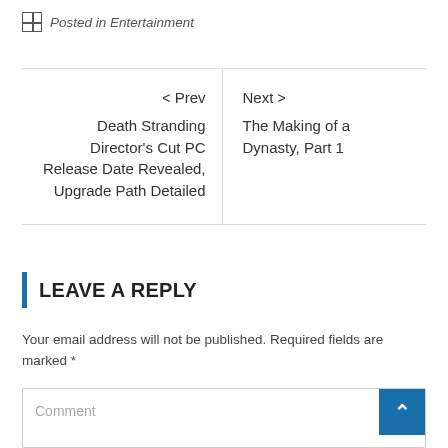Posted in Entertainment
< Prev
Death Stranding Director's Cut PC Release Date Revealed, Upgrade Path Detailed
Next >
The Making of a Dynasty, Part 1
LEAVE A REPLY
Your email address will not be published. Required fields are marked *
Comment